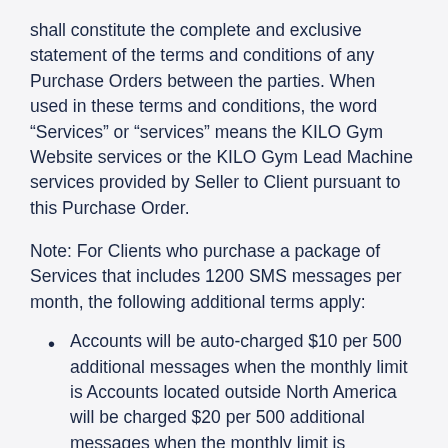shall constitute the complete and exclusive statement of the terms and conditions of any Purchase Orders between the parties. When used in these terms and conditions, the word “Services” or “services” means the KILO Gym Website services or the KILO Gym Lead Machine services provided by Seller to Client pursuant to this Purchase Order.
Note: For Clients who purchase a package of Services that includes 1200 SMS messages per month, the following additional terms apply:
Accounts will be auto-charged $10 per 500 additional messages when the monthly limit is Accounts located outside North America will be charged $20 per 500 additional messages when the monthly limit is exceeded.